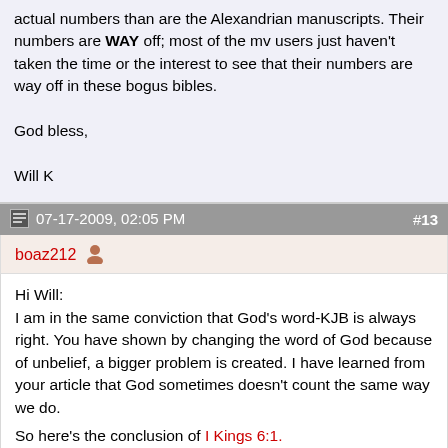actual numbers than are the Alexandrian manuscripts. Their numbers are WAY off; most of the mv users just haven't taken the time or the interest to see that their numbers are way off in these bogus bibles.
God bless,
Will K
07-17-2009, 02:05 PM   #13
boaz212
Hi Will:
I am in the same conviction that God's word-KJB is always right. You have shown by changing the word of God because of unbelief, a bigger problem is created. I have learned from your article that God sometimes doesn't count the same way we do.
So here's the conclusion of I Kings 6:1.
336 years Time of the reign of Judges
60 years Time of the reign of Samuel
40 years Time of the reign of Saul
40 years Time of the reign of David
4 years Time of the reign of Solomon at the time